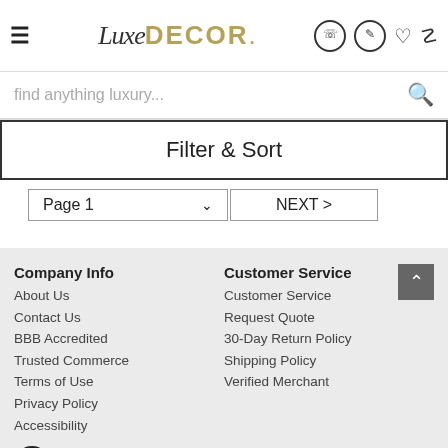[Figure (logo): LuxeDecor logo with hamburger menu and header icons (phone, account, wishlist, cart)]
find anything luxury...
Filter & Sort
Page 1   ∨   NEXT >
Company Info
About Us
Contact Us
BBB Accredited
Trusted Commerce
Terms of Use
Privacy Policy
Accessibility
Customer Service
Customer Service
Request Quote
30-Day Return Policy
Shipping Policy
Verified Merchant
Account
Login
Track My Order
Categories
Furniture
Lighting